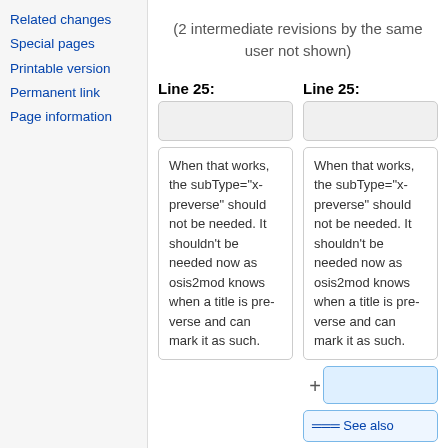Related changes
Special pages
Printable version
Permanent link
Page information
(2 intermediate revisions by the same user not shown)
Line 25: Line 25:
When that works, the subType="x-preverse" should not be needed. It shouldn't be needed now as osis2mod knows when a title is pre-verse and can mark it as such.